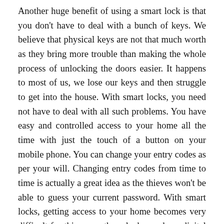Another huge benefit of using a smart lock is that you don't have to deal with a bunch of keys. We believe that physical keys are not that much worth as they bring more trouble than making the whole process of unlocking the doors easier. It happens to most of us, we lose our keys and then struggle to get into the house. With smart locks, you need not have to deal with all such problems. You have easy and controlled access to your home all the time with just the touch of a button on your mobile phone. You can change your entry codes as per your will. Changing entry codes from time to time is actually a great idea as the thieves won't be able to guess your current password. With smart locks, getting access to your home becomes very difficult for thieves as these locks work on digital codes. The main reason behind the huge popularity of smart locks is their convenience. Suppose, you are enjoying your weekend with your family in a resort and can't really remember whether you have